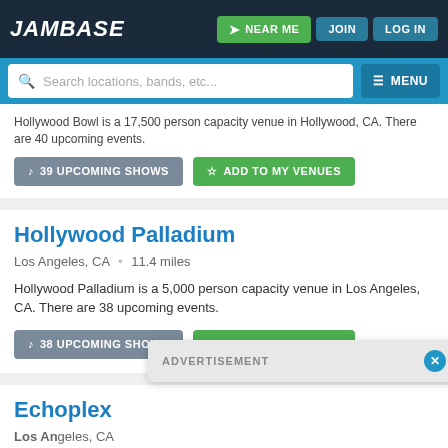JamBase | NEAR ME | JOIN | LOG IN
Search locations, bands, etc...
Hollywood Bowl is a 17,500 person capacity venue in Hollywood, CA. There are 40 upcoming events.
39 UPCOMING SHOWS
ADD TO MY VENUES
Hollywood Palladium
Los Angeles, CA  •  11.4 miles
Hollywood Palladium is a 5,000 person capacity venue in Los Angeles, CA. There are 38 upcoming events.
38 UPCOMING SHOWS
ADD TO MY VENUES
Echoplex
Los Angeles, CA
Echoplex … are 35 upcoming events.
ADVERTISEMENT